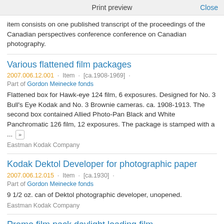Print preview   Close
item consists on one published transcript of the proceedings of the Canadian perspectives conference conference on Canadian photography.
Various flattened film packages
2007.006.12.001 · Item · [ca.1908-1969] ·
Part of Gordon Meinecke fonds
Flattened box for Hawk-eye 124 film, 6 exposures. Designed for No. 3 Bull's Eye Kodak and No. 3 Brownie cameras. ca. 1908-1913. The second box contained Allied Photo-Pan Black and White Panchromatic 126 film, 12 exposures. The package is stamped with a ... »
Eastman Kodak Company
Kodak Dektol Developer for photographic paper
2007.006.12.015 · Item · [ca.1930] ·
Part of Gordon Meinecke fonds
9 1/2 oz. can of Dektol photographic developer, unopened.
Eastman Kodak Company
Premo film pack daylight loading film
2007.006.12.030 · Item · [ca.1915] ·